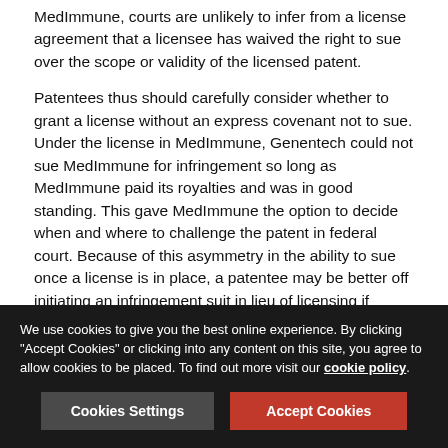MedImmune, courts are unlikely to infer from a license agreement that a licensee has waived the right to sue over the scope or validity of the licensed patent.
Patentees thus should carefully consider whether to grant a license without an express covenant not to sue. Under the license in MedImmune, Genentech could not sue MedImmune for infringement so long as MedImmune paid its royalties and was in good standing. This gave MedImmune the option to decide when and where to challenge the patent in federal court. Because of this asymmetry in the ability to sue once a license is in place, a patentee may be better off initiating an infringement suit in lieu of licensing if infringement is believed to be present by the potential licensee. However, the higher costs associated with litigation are likely to play a major role in the feasibility of such a decision. Alternatively, a patentee might consider a more complex and robust licensing
We use cookies to give you the best online experience. By clicking "Accept Cookies" or clicking into any content on this site, you agree to allow cookies to be placed. To find out more visit our cookie policy.